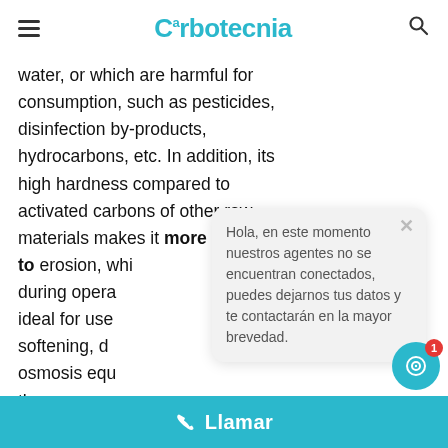Carbotecnia
water, or which are harmful for consumption, such as pesticides, disinfection by-products, hydrocarbons, etc. In addition, its high hardness compared to activated carbons of other raw materials makes it more resistant to erosion, whi... during opera... ideal for use... softening, d... osmosis equ... the presence... carbon particles, is undesirable.
Hola, en este momento nuestros agentes no se encuentran conectados, puedes dejarnos tus datos y te contactarán en la mayor brevedad.
Llamar